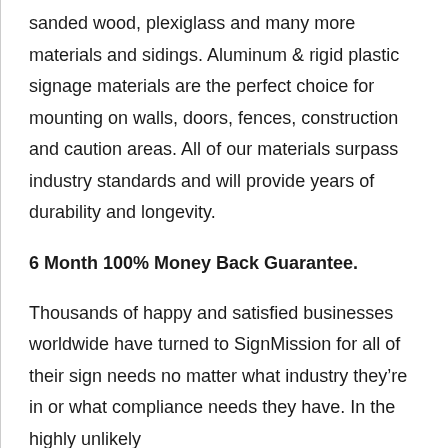sanded wood, plexiglass and many more materials and sidings. Aluminum & rigid plastic signage materials are the perfect choice for mounting on walls, doors, fences, construction and caution areas. All of our materials surpass industry standards and will provide years of durability and longevity.
6 Month 100% Money Back Guarantee.
Thousands of happy and satisfied businesses worldwide have turned to SignMission for all of their sign needs no matter what industry they're in or what compliance needs they have. In the highly unlikely